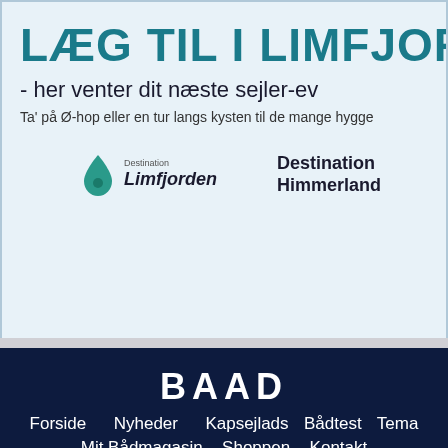[Figure (infographic): Advertisement banner for Destination Limfjorden and Destination Himmerland with light blue background, featuring heading 'LÆG TIL I LIMFJOR', subtitle '- her venter dit næste sejler-ev', body text 'Ta' på Ø-hop eller en tur langs kysten til de mange hygge', and two destination logos.]
[Figure (logo): Baadmagasinet logo in white on dark navy background, text 'BAAD MAGASINET']
Forside   Nyheder   Kapsejlads   Bådtest   Tema   Mit Bådmagasin   Shoppen   Kontakt